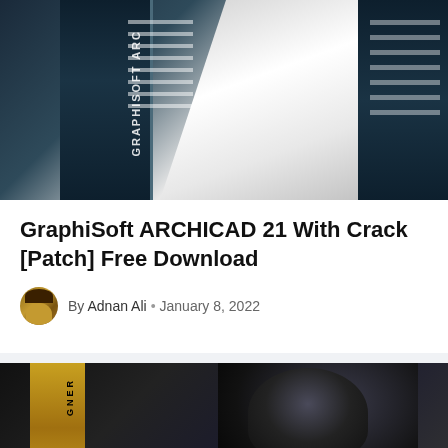[Figure (photo): GraphiSoft ARCHICAD 21 software box with architectural white structure background]
GraphiSoft ARCHICAD 21 With Crack [Patch] Free Download
By Adnan Ali • January 8, 2022
[Figure (photo): Designer software box with dark hooded figure in background]